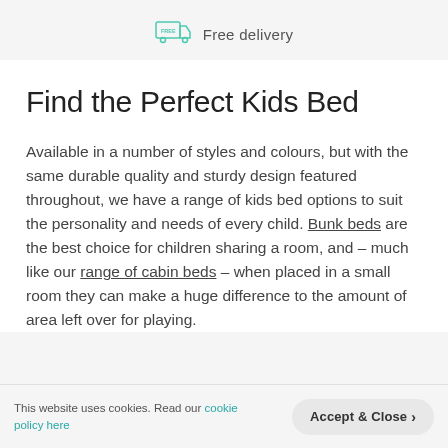Free delivery
Find the Perfect Kids Bed
Available in a number of styles and colours, but with the same durable quality and sturdy design featured throughout, we have a range of kids bed options to suit the personality and needs of every child. Bunk beds are the best choice for children sharing a room, and – much like our range of cabin beds – when placed in a small room they can make a huge difference to the amount of area left over for playing.
This website uses cookies. Read our cookie policy here | Accept & Close